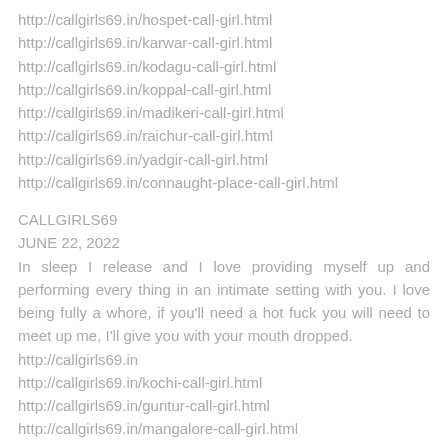http://callgirls69.in/hospet-call-girl.html
http://callgirls69.in/karwar-call-girl.html
http://callgirls69.in/kodagu-call-girl.html
http://callgirls69.in/koppal-call-girl.html
http://callgirls69.in/madikeri-call-girl.html
http://callgirls69.in/raichur-call-girl.html
http://callgirls69.in/yadgir-call-girl.html
http://callgirls69.in/connaught-place-call-girl.html
CALLGIRLS69
JUNE 22, 2022
In sleep I release and I love providing myself up and performing every thing in an intimate setting with you. I love being fully a whore, if you'll need a hot fuck you will need to meet up me, I'll give you with your mouth dropped.
http://callgirls69.in
http://callgirls69.in/kochi-call-girl.html
http://callgirls69.in/guntur-call-girl.html
http://callgirls69.in/mangalore-call-girl.html